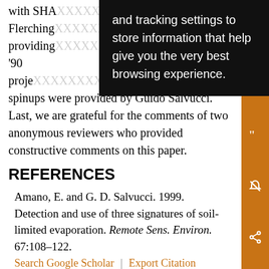with SHA... Flerching... providing... soon '90 project... ture spinups were provided by Guido Salvucci. Last, we are grateful for the comments of two anonymous reviewers who provided constructive comments on this paper.
[Figure (screenshot): Browser tooltip/cookie consent overlay with black background and white text reading: 'and tracking settings to store information that help give you the very best browsing experience.']
REFERENCES
Amano, E. and G. D. Salvucci. 1999. Detection and use of three signatures of soil-limited evaporation. Remote Sens. Environ. 67:108–122.
Betts, A. K. and J. H. Ball. 1995. The FIFE surface diurnal cycle climate. J. Geophys. Res. 100:25679...